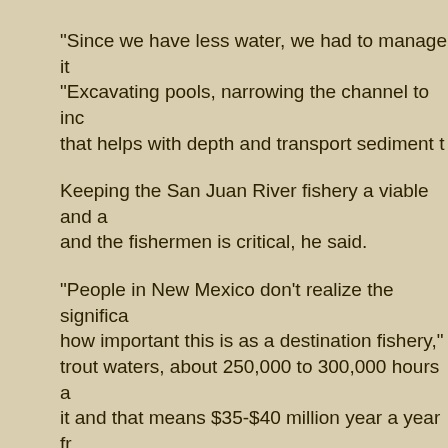“Since we have less water, we had to manage it “Excavating pools, narrowing the channel to inc that helps with depth and transport sediment t
Keeping the San Juan River fishery a viable and a and the fishermen is critical, he said.
“People in New Mexico don’t realize the significa how important this is as a destination fishery,” trout waters, about 250,000 to 300,000 hours a it and that means $35-$40 million year a year fr economy.”